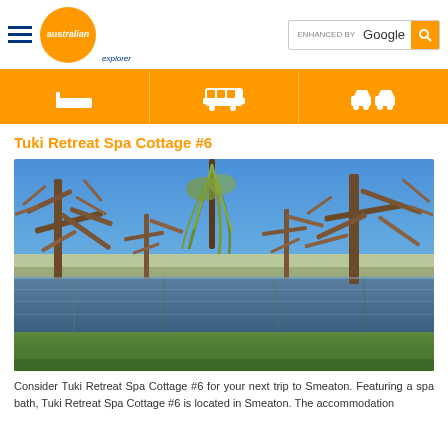Australian Explorer — ENHANCED BY Google [search bar]
[Figure (infographic): Navigation bar with orange background showing three icons: bed/accommodation icon, bus/transport icon, and car/vehicle icon]
Tuki Retreat Spa Cottage #6
[Figure (photo): Outdoor landscape photo of Tuki Retreat showing bare winter trees reflected in a still pond/lake under a clear blue sky, with green grass in the foreground]
Consider Tuki Retreat Spa Cottage #6 for your next trip to Smeaton. Featuring a spa bath, Tuki Retreat Spa Cottage #6 is located in Smeaton. The accommodation